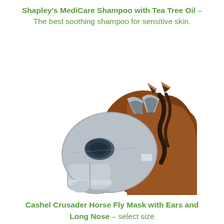Shapley's MediCare Shampoo with Tea Tree Oil – The best soothing shampoo for sensitive skin.
[Figure (photo): A chestnut horse wearing a grey fly mask with ear covers and a long nose piece, shown in profile against a white background.]
Cashel Crusader Horse Fly Mask with Ears and Long Nose – select size